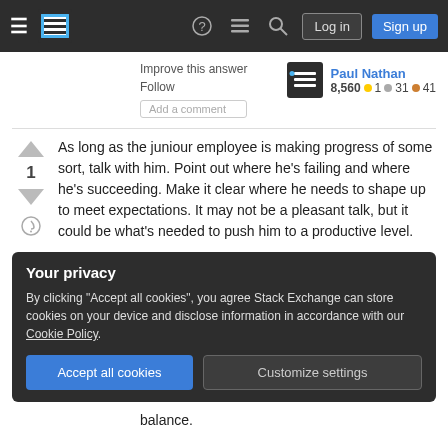Stack Exchange navigation bar with hamburger, logo, help, chat, search icons, Log in and Sign up buttons
Improve this answer
Follow
Add a comment
Paul Nathan
8,560 ●1 ●31 ●41
As long as the juniour employee is making progress of some sort, talk with him. Point out where he's failing and where he's succeeding. Make it clear where he needs to shape up to meet expectations. It may not be a pleasant talk, but it could be what's needed to push him to a productive level.
Your privacy
By clicking "Accept all cookies", you agree Stack Exchange can store cookies on your device and disclose information in accordance with our Cookie Policy.
Accept all cookies
Customize settings
balance.